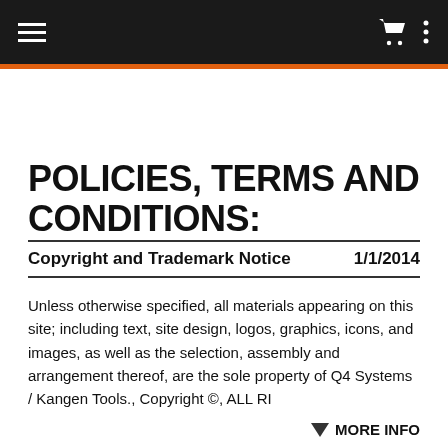≡  [cart icon]  [menu icon]
POLICIES, TERMS AND CONDITIONS:
Copyright and Trademark Notice    1/1/2014
Unless otherwise specified, all materials appearing on this site; including text, site design, logos, graphics, icons, and images, as well as the selection, assembly and arrangement thereof, are the sole property of Q4 Systems / Kangen Tools., Copyright ©, ALL RI
▼  MORE INFO